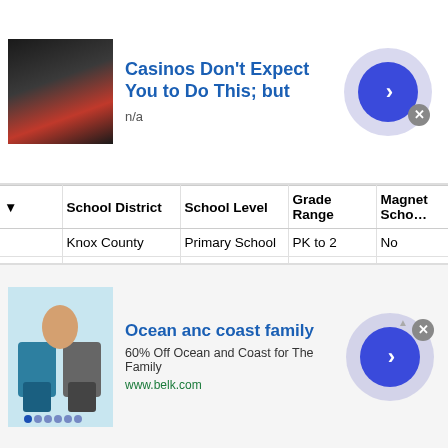[Figure (screenshot): Advertisement banner: image of person, title 'Casinos Don't Expect You to Do This; but', subtitle 'n/a', with blue arrow button]
| ▼ | School District | School Level | Grade Range | Magnet Scho… |
| --- | --- | --- | --- | --- |
|  | Knox County | Primary School | PK to 2 | No |
| tary | Jefferson County | Primary School | PK to 8 | No |
|  | Knox County | Primary School | K to 5 | No |
| tary | Jefferson County | Primary School | PK to 5 | No |
|  | Union County | Primary School | PK to 5 | No |
| ol | Knox County | Middle School | 6 to 8 | No |
[Figure (screenshot): Advertisement banner: Ocean anc coast family, 60% Off Ocean and Coast for The Family, www.belk.com, with blue arrow button and swimwear image]